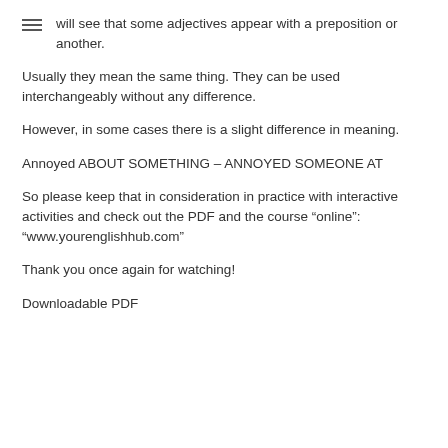will see that some adjectives appear with a preposition or another.
Usually they mean the same thing. They can be used interchangeably without any difference.
However, in some cases there is a slight difference in meaning.
Annoyed ABOUT SOMETHING – ANNOYED SOMEONE AT
So please keep that in consideration in practice with interactive activities and check out the PDF and the course “online”: “www.yourenglishhub.com”
Thank you once again for watching!
Downloadable PDF